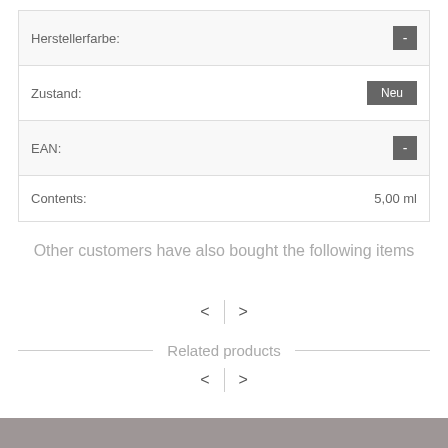| Field | Value |
| --- | --- |
| Herstellerfarbe: | - |
| Zustand: | Neu |
| EAN: | - |
| Contents: | 5,00 ml |
Other customers have also bought the following items
< >
Related products
< >